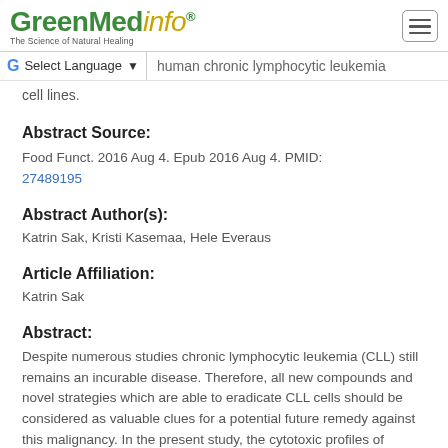GreenMedinfo - The Science of Natural Healing
human chronic lymphocytic leukemia cell lines.
Abstract Source:
Food Funct. 2016 Aug 4. Epub 2016 Aug 4. PMID: 27489195
Abstract Author(s):
Katrin Sak, Kristi Kasemaa, Hele Everaus
Article Affiliation:
Katrin Sak
Abstract:
Despite numerous studies chronic lymphocytic leukemia (CLL) still remains an incurable disease. Therefore, all new compounds and novel strategies which are able to eradicate CLL cells should be considered as valuable clues for a potential future remedy against this malignancy. In the present study, the cytotoxic profiles of natural flavonoids were described in two human CLL